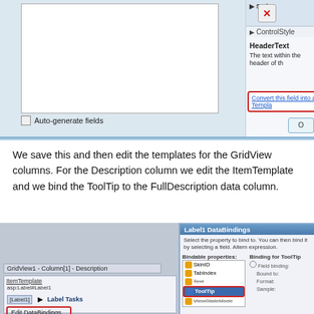[Figure (screenshot): Screenshot of a dialog with a listbox, Auto-generate fields checkbox, HeaderText property panel, Convert this field into a Template link (red border), and an OK button partially visible]
We save this and then edit the templates for the GridView columns.  For the Description column we edit the ItemTemplate and we bind the ToolTip to the FullDescription data column.
[Figure (screenshot): Screenshot showing GridView1 Column[1] Description item template with Label Tasks popup and Edit DataBindings button (red border), and Label1 DataBindings dialog with Bindable properties list including ToolTip highlighted (red border), and Binding for ToolTip section]